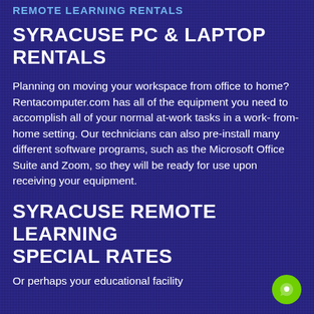REMOTE LEARNING RENTALS
SYRACUSE PC & LAPTOP RENTALS
Planning on moving your workspace from office to home? Rentacomputer.com has all of the equipment you need to accomplish all of your normal at-work tasks in a work-from-home setting. Our technicians can also pre-install many different software programs, such as the Microsoft Office Suite and Zoom, so they will be ready for use upon receiving your equipment.
SYRACUSE REMOTE LEARNING SPECIAL RATES
Or perhaps your educational facility